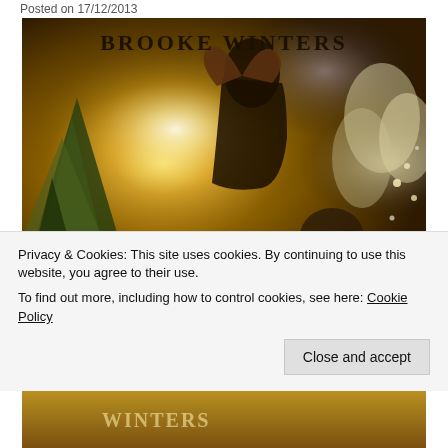Posted on 17/12/2013
[Figure (photo): Book cover for 'Brooke Winters' showing two women in a festive golden bokeh setting with Christmas trees. Title 'BROOKE WINTERS' displayed at top in bold serif letters.]
Privacy & Cookies: This site uses cookies. By continuing to use this website, you agree to their use.
To find out more, including how to control cookies, see here: Cookie Policy
Close and accept